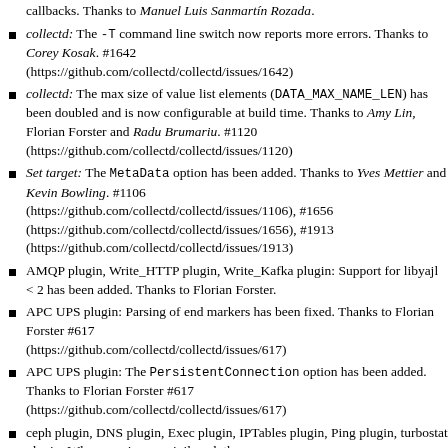callbacks. Thanks to Manuel Luis Sanmartín Rozada.
collectd: The -T command line switch now reports more errors. Thanks to Corey Kosak. #1642 (https://github.com/collectd/collectd/issues/1642)
collectd: The max size of value list elements (DATA_MAX_NAME_LEN) has been doubled and is now configurable at build time. Thanks to Amy Lin, Florian Forster and Radu Brumariu. #1120 (https://github.com/collectd/collectd/issues/1120)
Set target: The MetaData option has been added. Thanks to Yves Mettier and Kevin Bowling. #1106 (https://github.com/collectd/collectd/issues/1106), #1656 (https://github.com/collectd/collectd/issues/1656), #1913 (https://github.com/collectd/collectd/issues/1913)
AMQP plugin, Write_HTTP plugin, Write_Kafka plugin: Support for libyajl < 2 has been added. Thanks to Florian Forster.
APC UPS plugin: Parsing of end markers has been fixed. Thanks to Florian Forster #617 (https://github.com/collectd/collectd/issues/617)
APC UPS plugin: The PersistentConnection option has been added. Thanks to Florian Forster #617 (https://github.com/collectd/collectd/issues/617)
ceph plugin, DNS plugin, Exec plugin, IPTables plugin, Ping plugin, turbostat plugin: When running unprivileged, these